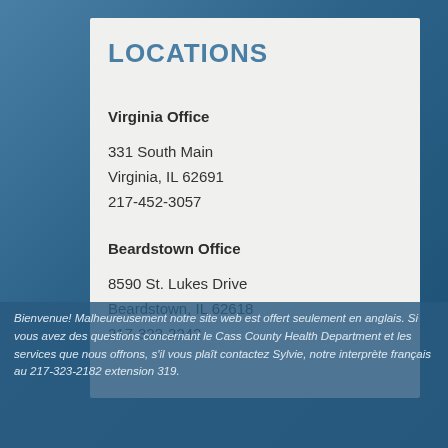LOCATIONS
Virginia Office
331 South Main
Virginia, IL 62691
217-452-3057
Beardstown Office
8590 St. Lukes Drive
Beardstown, IL 62618
217-323-2242
Bienvenue! Malheureusement notre site web est offert seulement en anglais. Si vous avez des questions concernant le Cass County Health Department et les services que nous offrons, s'il vous plaît contactez Sylvie, notre interprète français au 217-323-2182 extension 319.